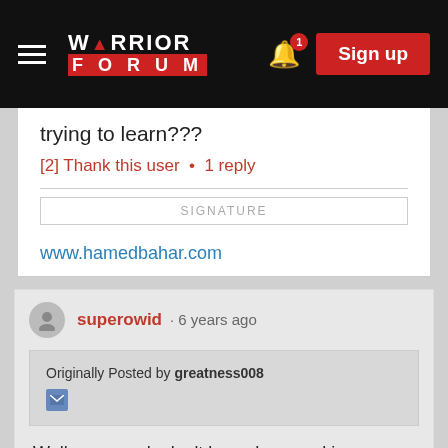WARRIOR FORUM — Sign up
trying to learn???
[2] Thank this user • 1 reply
SIGNATURE
www.hamedbahar.com
superowid · 6 years ago
Originally Posted by greatness008
Well, you surely don't know how cool is skillshare for newbies. If